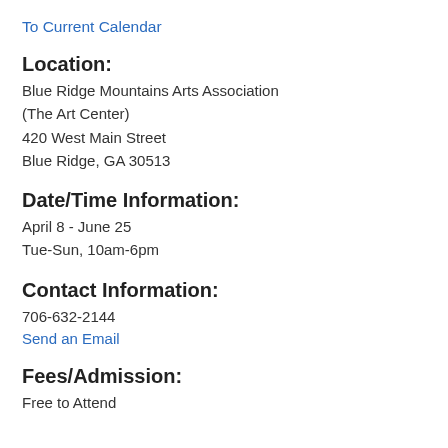To Current Calendar
Location:
Blue Ridge Mountains Arts Association
(The Art Center)
420 West Main Street
Blue Ridge, GA 30513
Date/Time Information:
April 8 - June 25
Tue-Sun, 10am-6pm
Contact Information:
706-632-2144
Send an Email
Fees/Admission:
Free to Attend